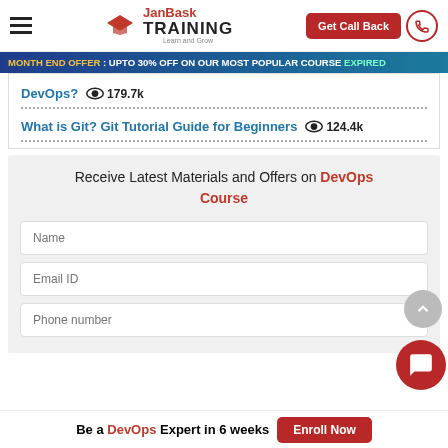JanBask TRAINING - Learn and Grow | Get Call Back
MONTH END OFFER : UPTO 30% OFF ON OUR MOST POPULAR COURSE EXPIRED
DevOps? 179.7k
What is Git? Git Tutorial Guide for Beginners 124.4k
Receive Latest Materials and Offers on DevOps Course
Name
Email ID
Phone number
Be a DevOps Expert in 6 weeks | Enroll Now